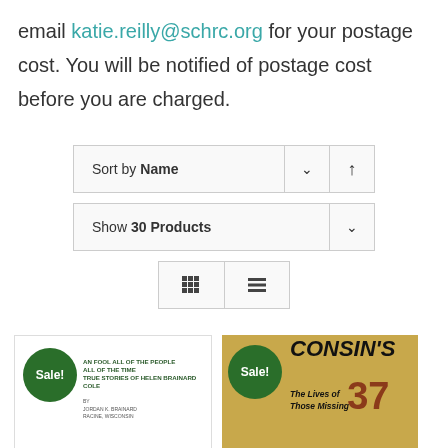email katie.reilly@schrc.org for your postage cost. You will be notified of postage cost before you are charged.
Sort by Name
Show 30 Products
[Figure (screenshot): Grid/list view toggle buttons]
[Figure (screenshot): Book cover: Sale! - AN FOOL ALL OF THE PEOPLE ALL OF THE TIME - TRUE STORIES OF HELEN BRAINARD COLE]
[Figure (screenshot): Book cover: Sale! - WISCONSIN'S 37 - The Lives of Those Missing]